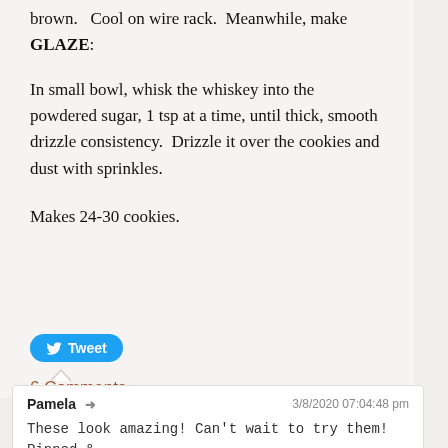brown.   Cool on wire rack.  Meanwhile, make GLAZE:
In small bowl, whisk the whiskey into the powdered sugar, 1 tsp at a time, until thick, smooth drizzle consistency.  Drizzle it over the cookies and dust with sprinkles.
Makes 24-30 cookies.
[Figure (other): Twitter Tweet button in blue rounded rectangle with bird icon]
6 Comments
Pamela ➜  3/8/2020 07:04:48 pm
These look amazing! Can't wait to try them! Pinned & printed.